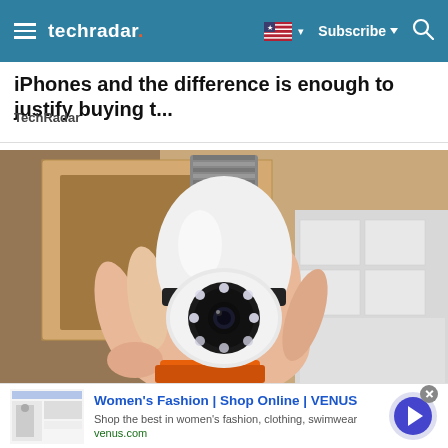techradar — Subscribe | Search
iPhones and the difference is enough to justify buying t...
TechRadar
[Figure (photo): A hand holding a white security camera shaped like a light bulb with an E27 screw base, featuring a camera lens surrounded by LED lights on a spherical rotatable body. Background shows cardboard boxes on shelves.]
Women's Fashion | Shop Online | VENUS
Shop the best in women's fashion, clothing, swimwear
venus.com